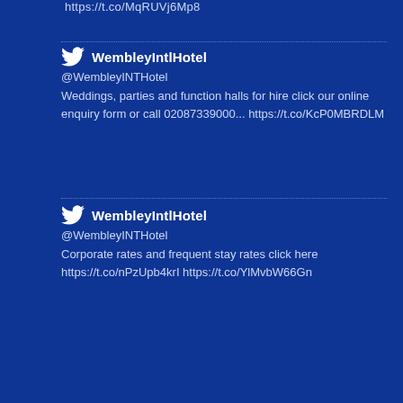https://t.co/MqRUVj6Mp8
WembleyIntlHotel
@WembleyINTHotel
Weddings, parties and function halls for hire click our online enquiry form or call 02087339000... https://t.co/KcP0MBRDLM
WembleyIntlHotel
@WembleyINTHotel
Corporate rates and frequent stay rates click here https://t.co/nPzUpb4krI https://t.co/YlMvbW66Gn